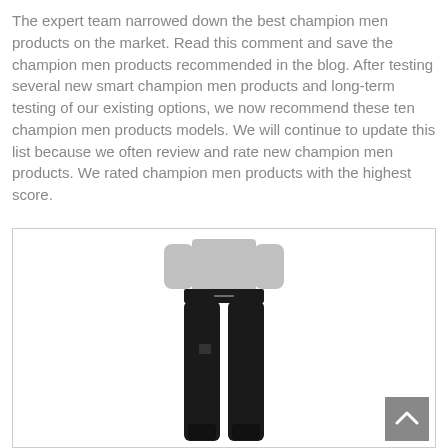The expert team narrowed down the best champion men products on the market. Read this comment and save the champion men products recommended in the blog. After testing several new smart champion men products and long-term testing of our existing options, we now recommend these ten champion men products models. We will continue to update this list because we often review and rate new champion men products. We rated champion men products with the highest score.
[Figure (photo): A person wearing black jogger pants and a light grey t-shirt, shown from roughly waist down, standing position. The image is inside a white bordered box.]